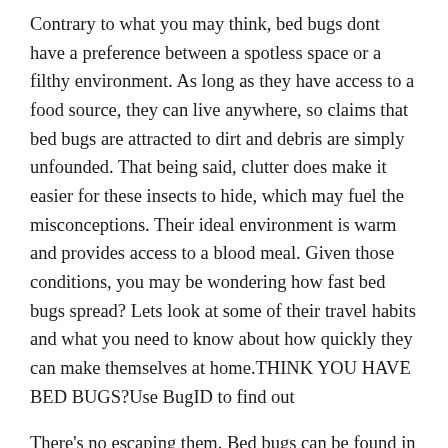Contrary to what you may think, bed bugs dont have a preference between a spotless space or a filthy environment. As long as they have access to a food source, they can live anywhere, so claims that bed bugs are attracted to dirt and debris are simply unfounded. That being said, clutter does make it easier for these insects to hide, which may fuel the misconceptions. Their ideal environment is warm and provides access to a blood meal. Given those conditions, you may be wondering how fast bed bugs spread? Lets look at some of their travel habits and what you need to know about how quickly they can make themselves at home.THINK YOU HAVE BED BUGS?Use BugID to find out
There's no escaping them. Bed bugs can be found in all 50 states, warns Oregon State University. And the news gets worse: Not only are bed bugs present everywhere, but the university's researchers warn